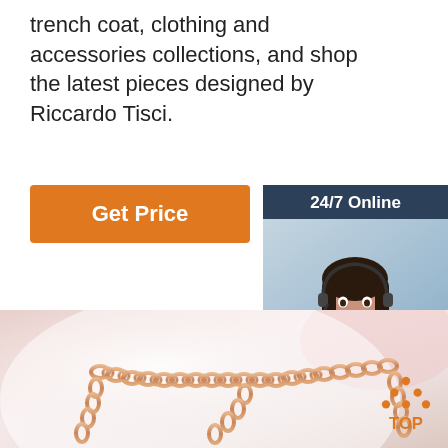trench coat, clothing and accessories collections, and shop the latest pieces designed by Riccardo Tisci.
Get Price
24/7 Online
[Figure (photo): Customer service agent woman with headset smiling]
Click here for free chat !
QUOTATION
[Figure (photo): Rose gold jewelry chain on soft pink and white background]
[Figure (other): TOP badge with orange dots forming a triangle above the word TOP]